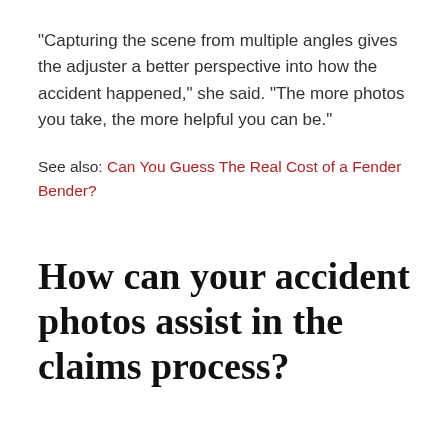“Capturing the scene from multiple angles gives the adjuster a better perspective into how the accident happened,” she said. “The more photos you take, the more helpful you can be.”
See also: Can You Guess The Real Cost of a Fender Bender?
How can your accident photos assist in the claims process?